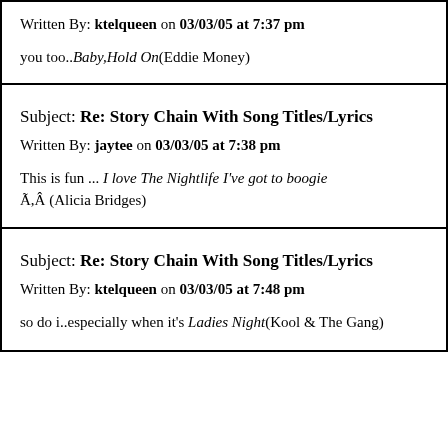Written By: ktelqueen on 03/03/05 at 7:37 pm
you too..Baby,Hold On(Eddie Money)
Subject: Re: Story Chain With Song Titles/Lyrics
Written By: jaytee on 03/03/05 at 7:38 pm
This is fun ... I love The Nightlife I've got to boogie Ã,Â (Alicia Bridges)
Subject: Re: Story Chain With Song Titles/Lyrics
Written By: ktelqueen on 03/03/05 at 7:48 pm
so do i..especially when it's Ladies Night(Kool & The Gang)